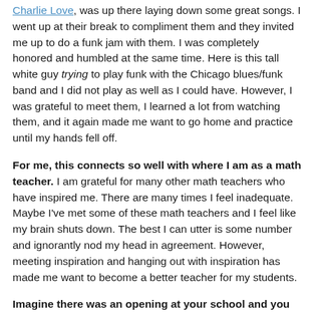Charlie Love, was up there laying down some great songs. I went up at their break to compliment them and they invited me up to do a funk jam with them. I was completely honored and humbled at the same time. Here is this tall white guy trying to play funk with the Chicago blues/funk band and I did not play as well as I could have. However, I was grateful to meet them, I learned a lot from watching them, and it again made me want to go home and practice until my hands fell off.
For me, this connects so well with where I am as a math teacher. I am grateful for many other math teachers who have inspired me. There are many times I feel inadequate. Maybe I've met some of these math teachers and I feel like my brain shuts down. The best I can utter is some number and ignorantly nod my head in agreement. However, meeting inspiration and hanging out with inspiration has made me want to become a better teacher for my students.
Imagine there was an opening at your school and you could hire your teaching colleague. Would you turn down the chance to work alongside: